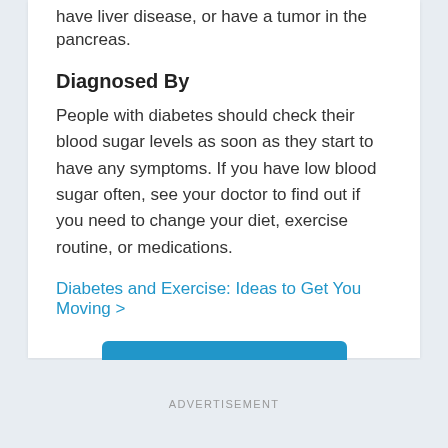have liver disease, or have a tumor in the pancreas.
Diagnosed By
People with diabetes should check their blood sugar levels as soon as they start to have any symptoms. If you have low blood sugar often, see your doctor to find out if you need to change your diet, exercise routine, or medications.
Diabetes and Exercise: Ideas to Get You Moving >
Treatment Options >
ADVERTISEMENT